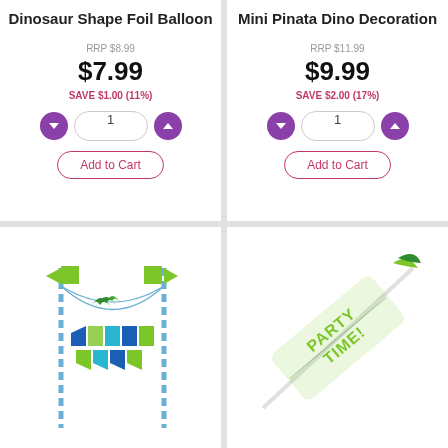Dinosaur Shape Foil Balloon
RRP $8.99
$7.99
SAVE $1.00 (11%)
1
Add to Cart
Mini Pinata Dino Decoration
RRP $11.99
$9.99
SAVE $2.00 (17%)
1
Add to Cart
[Figure (illustration): Dinosaur themed party banner decoration with blue and green bunting flags hung between two striped poles]
[Figure (illustration): Green party time banner/decoration in diagonal orientation with text PARTY TIME!]